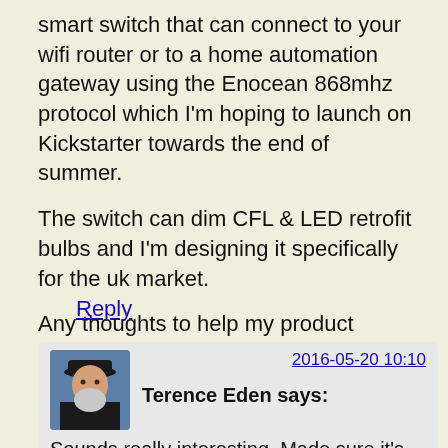smart switch that can connect to your wifi router or to a home automation gateway using the Enocean 868mhz protocol which I'm hoping to launch on Kickstarter towards the end of summer.
The switch can dim CFL & LED retrofit bulbs and I'm designing it specifically for the uk market.
Any thoughts to help my product development?
Reply
2016-05-20 10:10
Terence Eden says:
Sounds really interesting. Made sure it's suitable for shallow patresses - that is, don't make people drill extra holes. Happy to beta